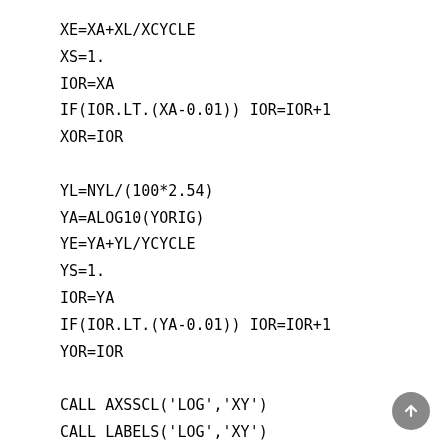XE=XA+XL/XCYCLE
XS=1.
IOR=XA
IF(IOR.LT.(XA-0.01)) IOR=IOR+1
XOR=IOR

YL=NYL/(100*2.54)
YA=ALOG10(YORIG)
YE=YA+YL/YCYCLE
YS=1.
IOR=YA
IF(IOR.LT.(YA-0.01)) IOR=IOR+1
YOR=IOR

CALL AXSSCL('LOG','XY')
CALL LABELS('LOG','XY')
CALL LABDIC( 1,'XY')